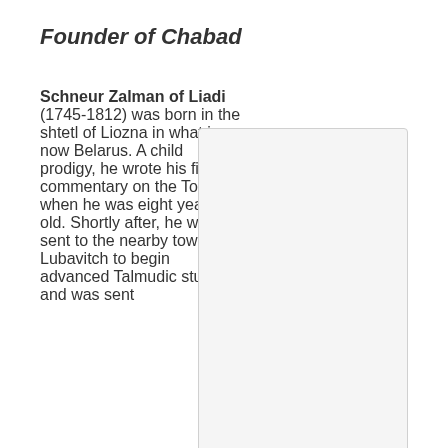Founder of Chabad
Schneur Zalman of Liadi (1745-1812) was born in the shtetl of Liozna in what is now Belarus. A child prodigy, he wrote his first commentary on the Torah when he was eight years old. Shortly after, he was sent to the nearby town of Lubavitch to begin advanced Talmudic studies, and was sent back home at the age of 12 as he had surpassed the knowledge of his teachers. He married at 15, and around the
[Figure (photo): Portrait image placeholder of Schneur Zalman of Liadi]